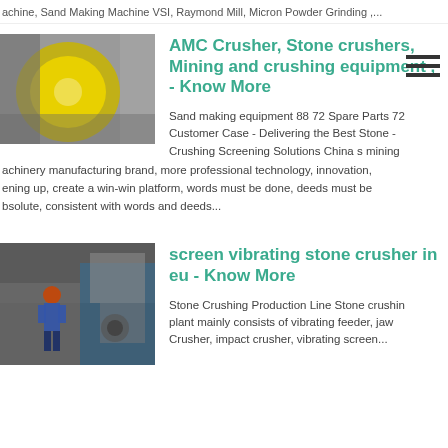achine, Sand Making Machine VSI, Raymond Mill, Micron Powder Grinding ,...
[Figure (photo): Industrial crusher machine with yellow disc component]
AMC Crusher, Stone crushers, Mining and crushing equipment , - Know More
Sand making equipment 88 72 Spare Parts 72 Customer Case - Delivering the Best Stone Crushing Screening Solutions China s mining machinery manufacturing brand, more professional technology, innovation, opening up, create a win-win platform, words must be done, deeds must be absolute, consistent with words and deeds...
[Figure (photo): Worker in hard hat operating heavy industrial machinery]
screen vibrating stone crusher in eu - Know More
Stone Crushing Production Line Stone crushing plant mainly consists of vibrating feeder, jaw Crusher, impact crusher, vibrating screen...